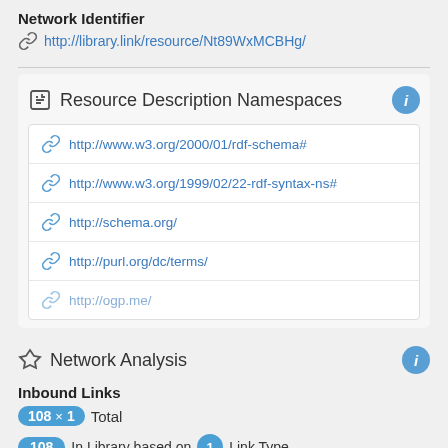Network Identifier
http://library.link/resource/Nt89WxMCBHg/
Resource Description Namespaces
http://www.w3.org/2000/01/rdf-schema#
http://www.w3.org/1999/02/22-rdf-syntax-ns#
http://schema.org/
http://purl.org/dc/terms/
http://ogp.me/
Network Analysis
Inbound Links
108 × 1 Total
108 In Library based on 1 Link Type
Outbound Links